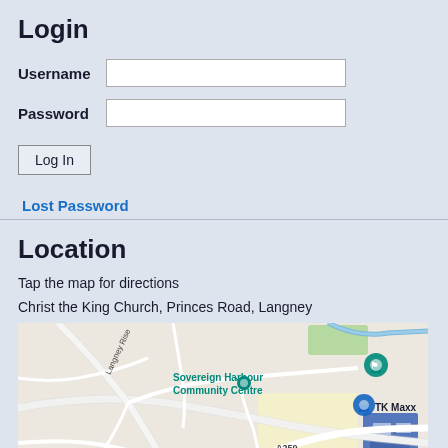Login
Username
Password
Log In
Lost Password
Location
Tap the map for directions
Christ the King Church, Princes Road, Langney
[Figure (map): Google map showing Sovereign Harbour Community Centre, TK Maxx, A259 road, Langney Rise, St Anthony's Hill area in Eastbourne, UK. A red location pin is visible near St Anthony's Hill.]